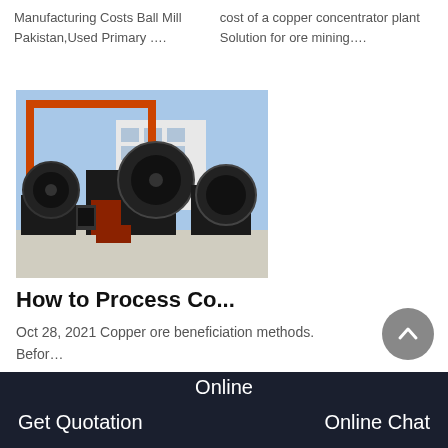Manufacturing Costs Ball Mill Pakistan,Used Primary ….
cost of a copper concentrator plant Solution for ore mining….
[Figure (photo): Industrial ball mills or large fan/blower equipment in black and orange, staged in an outdoor industrial yard with a red gantry crane and white building in background.]
How to Process Co...
Oct 28, 2021 Copper ore beneficiation methods. Befor…
[Figure (other): Broken image icon placeholder]
Online  Get Quotation  Online Chat